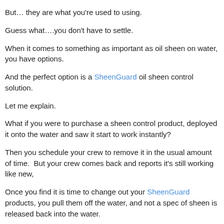But… they are what you're used to using.
Guess what….you don't have to settle.
When it comes to something as important as oil sheen on water, you have options.
And the perfect option is a SheenGuard oil sheen control solution.
Let me explain.
What if you were to purchase a sheen control product, deployed it onto the water and saw it start to work instantly?
Then you schedule your crew to remove it in the usual amount of time.  But your crew comes back and reports it's still working like new,
Once you find it is time to change out your SheenGuard products, you pull them off the water, and not a spec of sheen is released back into the water.
That's how SheenGuard products work for our customers.
SheenGuard uses the same…